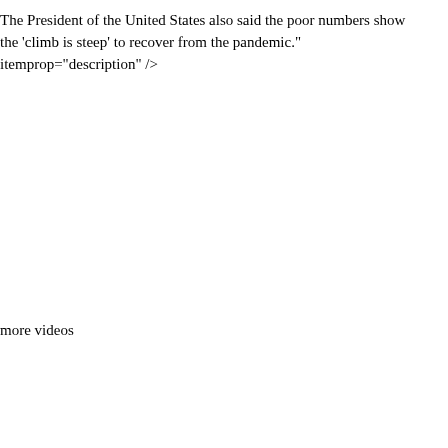The President of the United States also said the poor numbers show the 'climb is steep' to recover from the pandemic." itemprop="description" />
more videos